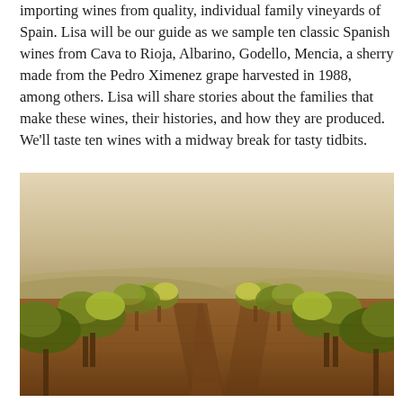importing wines from quality, individual family vineyards of Spain. Lisa will be our guide as we sample ten classic Spanish wines from Cava to Rioja, Albarino, Godello, Mencia, a sherry made from the Pedro Ximenez grape harvested in 1988, among others. Lisa will share stories about the families that make these wines, their histories, and how they are produced. We'll taste ten wines with a midway break for tasty tidbits.
[Figure (photo): A vineyard with rows of grapevines stretching into the distance under a hazy sky, with reddish-brown soil between the rows. The image has a warm, vintage tone.]